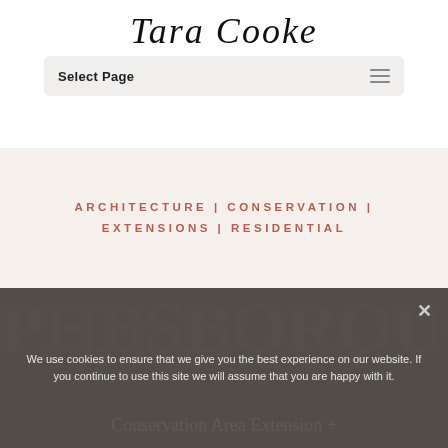Tara Cooke
Select Page
ARCHITECTURE | CONSERVATION | EXTENSIONS | RESIDENTIAL
PHBSBOROUGH
We use cookies to ensure that we give you the best experience on our website. If you continue to use this site we will assume that you are happy with it.
Conservation Area Extension +